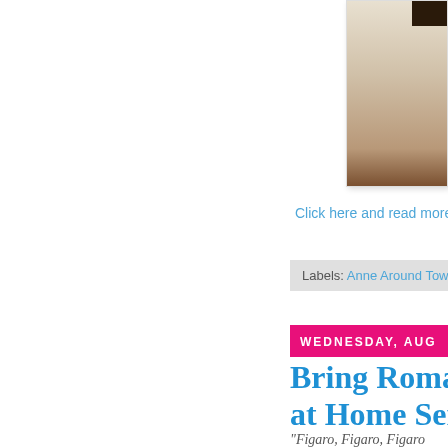[Figure (photo): Partial photo of a room/furniture in dark brown tones, cropped at the right edge of the page]
Click here and read more
Labels: Anne Around Town
WEDNESDAY, AUG
Bring Romano at Home Seri
"Figaro, Figaro, Figaro